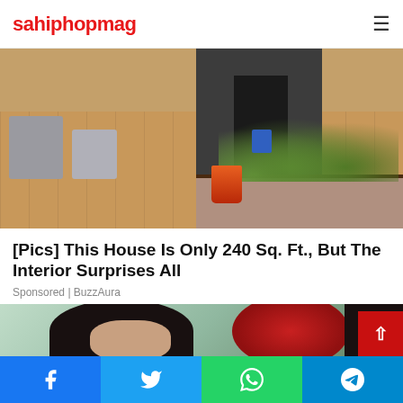sahiphopmag
[Figure (photo): Exterior photo of a small modern house with wooden deck, colorful planters, dark gray paneling, and a gravel garden bed with ornamental grasses]
[Pics] This House Is Only 240 Sq. Ft., But The Interior Surprises All
Sponsored | BuzzAura
[Figure (photo): Photo of a woman with long dark hair being touched/helped by a person in a dark outfit, with a red background element]
Facebook  Twitter  WhatsApp  Telegram